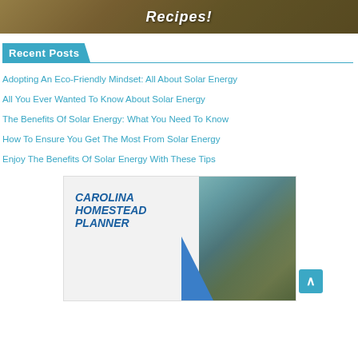[Figure (photo): Banner image with food/biscuits background and text 'Recipes!' in white italic font]
Recent Posts
Adopting An Eco-Friendly Mindset: All About Solar Energy
All You Ever Wanted To Know About Solar Energy
The Benefits Of Solar Energy: What You Need To Know
How To Ensure You Get The Most From Solar Energy
Enjoy The Benefits Of Solar Energy With These Tips
[Figure (illustration): Carolina Homestead Planner advertisement banner with log cabin photo on right side and blue triangle graphic]